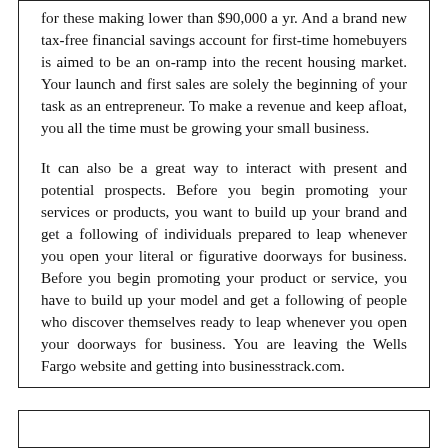for these making lower than $90,000 a yr. And a brand new tax-free financial savings account for first-time homebuyers is aimed to be an on-ramp into the recent housing market. Your launch and first sales are solely the beginning of your task as an entrepreneur. To make a revenue and keep afloat, you all the time must be growing your small business.

It can also be a great way to interact with present and potential prospects. Before you begin promoting your services or products, you want to build up your brand and get a following of individuals prepared to leap whenever you open your literal or figurative doorways for business. Before you begin promoting your product or service, you have to build up your model and get a following of people who discover themselves ready to leap whenever you open your doorways for business. You are leaving the Wells Fargo website and getting into businesstrack.com.